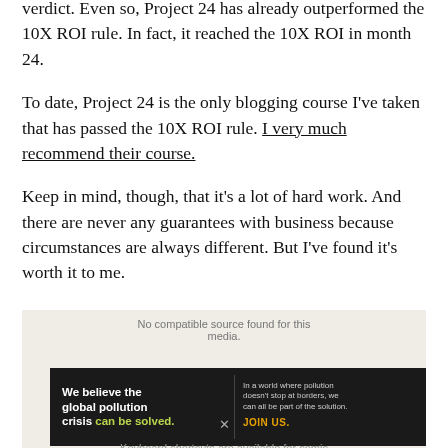verdict. Even so, Project 24 has already outperformed the 10X ROI rule. In fact, it reached the 10X ROI in month 24.
To date, Project 24 is the only blogging course I've taken that has passed the 10X ROI rule. I very much recommend their course.
Keep in mind, though, that it's a lot of hard work. And there are never any guarantees with business because circumstances are always different. But I've found it's worth it to me.
[Figure (other): Advertisement banner for Pure Earth: 'We believe the global pollution crisis can be solved. In a world where pollution doesn't stop at borders, we can all be part of the solution. JOIN US.' with Pure Earth logo. Overlaid on a video player showing 'No compatible source found for this media' message with an X close button.]